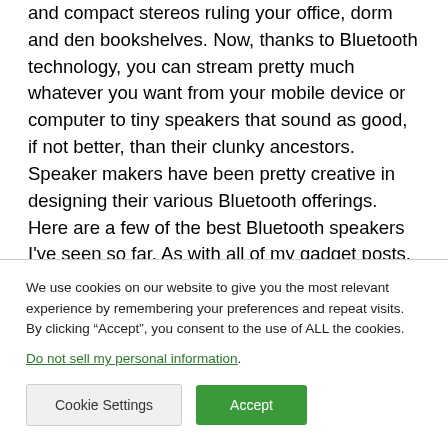and compact stereos ruling your office, dorm and den bookshelves. Now, thanks to Bluetooth technology, you can stream pretty much whatever you want from your mobile device or computer to tiny speakers that sound as good, if not better, than their clunky ancestors. Speaker makers have been pretty creative in designing their various Bluetooth offerings. Here are a few of the best Bluetooth speakers I've seen so far. As with all of my gadget posts, check back in the future as I will be adding more to this gallery as I come across them.
We use cookies on our website to give you the most relevant experience by remembering your preferences and repeat visits. By clicking “Accept”, you consent to the use of ALL the cookies.
Do not sell my personal information.